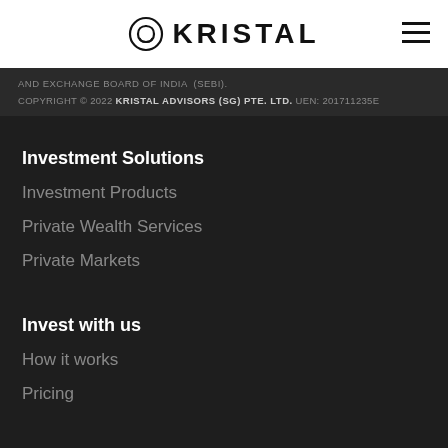KRISTAL
AND EXCHANGE BOARD OF INDIA (SEBI).
COPYRIGHT © 2022 KRISTAL ADVISORS (SG) PTE. LTD. UEN: 201711235E
Investment Solutions
Investment Products
Private Wealth Services
Private Markets
Invest with us
How it works
Pricing
Company